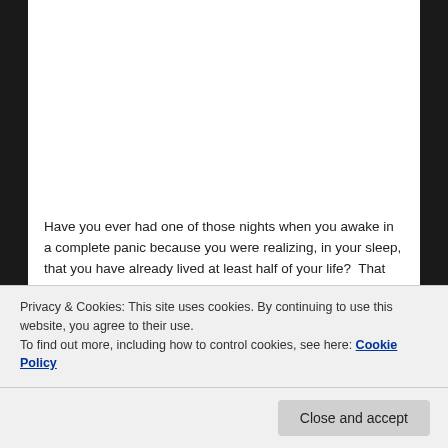[Figure (illustration): Black and white image with quote text 'other one, which is eternal.' and attribution '- St. Cosmas Of Aitolos']
Have you ever had one of those nights when you awake in a complete panic because you were realizing, in your sleep, that you have already lived at least half of your life? That perhaps you do not have many more decades stretching before you? I did. And boy, was I in a sweat, breathing heavily, and completely panicked. I sat there, realizing that I am in my “late 50s” and I doubt I will be
Privacy & Cookies: This site uses cookies. By continuing to use this website, you agree to their use.
To find out more, including how to control cookies, see here: Cookie Policy
have them know me. I wept, and reached over and